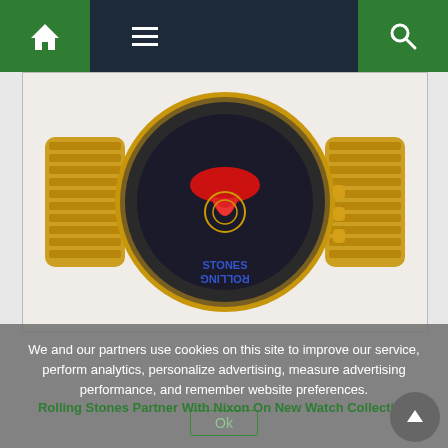[Figure (screenshot): Website navigation bar with green home icon, hamburger menu icon on dark navy background, and green search icon on right]
[Figure (photo): Rolling Stones x Nixon gold watch with dark face featuring the Rolling Stones tongue logo and ROLLING STONES text around the bezel, gold bracelet band]
We and our partners use cookies on this site to improve our service, perform analytics, personalize advertising, measure advertising performance, and remember website preferences.
Ok
Rolling Stones Partner With Nixon On New Watch Collection